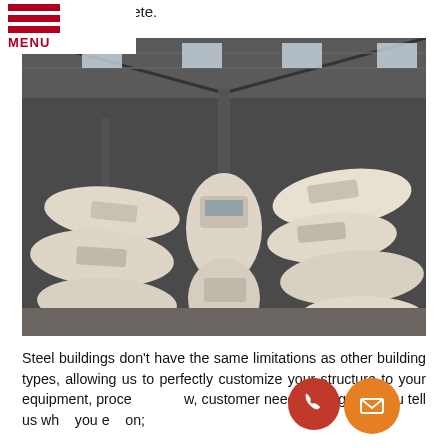mplete.
MENU
[Figure (photo): Interior of a large steel building / warehouse packed with many motor yachts and powerboats stored side by side, viewed from an elevated angle showing the full length of the structure.]
Steel buildings don't have the same limitations as other building types, allowing us to perfectly customize your structure to your equipment, process workflow, customer needs, and goals. You tell us what you envision;